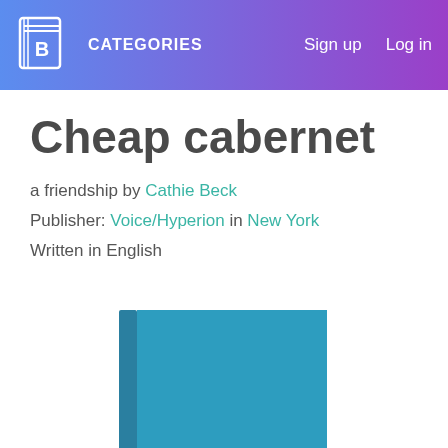CATEGORIES  Sign up  Log in
Cheap cabernet
a friendship by Cathie Beck
Publisher: Voice/Hyperion in New York
Written in English
[Figure (illustration): Teal/blue book cover shown partially, bottom of page]